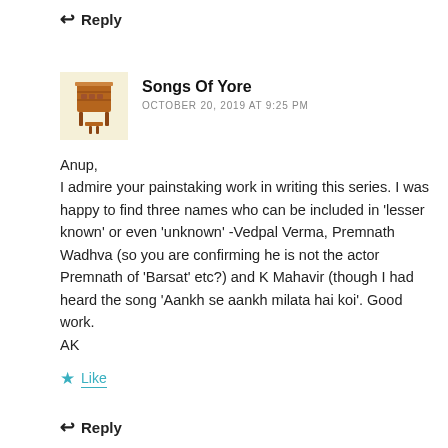↩ Reply
Songs Of Yore
OCTOBER 20, 2019 AT 9:25 PM
[Figure (illustration): Avatar icon showing a vintage chair/organ/cabinet illustration on a light yellow background]
Anup,
I admire your painstaking work in writing this series. I was happy to find three names who can be included in 'lesser known' or even 'unknown' -Vedpal Verma, Premnath Wadhva (so you are confirming he is not the actor Premnath of 'Barsat' etc?) and K Mahavir (though I had heard the song 'Aankh se aankh milata hai koi'. Good work.
AK
★ Like
↩ Reply